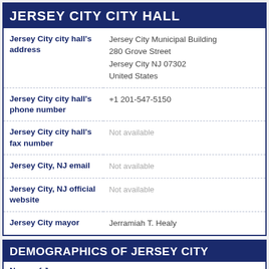JERSEY CITY CITY HALL
| Field | Value |
| --- | --- |
| Jersey City city hall's address | Jersey City Municipal Building
280 Grove Street
Jersey City NJ 07302
United States |
| Jersey City city hall's phone number | +1 201-547-5150 |
| Jersey City city hall's fax number | Not available |
| Jersey City, NJ email | Not available |
| Jersey City, NJ official website | Not available |
| Jersey City mayor | Jerramiah T. Healy |
DEMOGRAPHICS OF JERSEY CITY
Name of Jersey